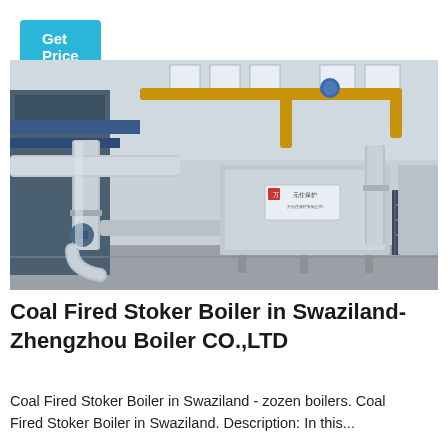[Figure (other): Button labeled 'Get Price' in cyan/teal color]
[Figure (photo): Industrial coal fired stoker boiler equipment inside a factory/workshop, showing large silver insulated pipes and boiler units with yellow overhead pipes, taken in a Chinese manufacturing facility. A red logo/label is visible on the central boiler unit.]
Coal Fired Stoker Boiler in Swaziland-Zhengzhou Boiler CO.,LTD
Coal Fired Stoker Boiler in Swaziland - zozen boilers. Coal Fired Stoker Boiler in Swaziland. Description: In this...